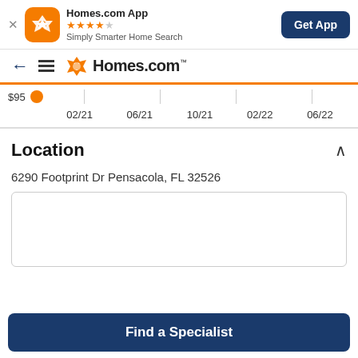[Figure (screenshot): Homes.com app banner with orange icon, star rating, and Get App button]
[Figure (logo): Homes.com navigation bar with back arrow, hamburger menu, and Homes.com logo]
[Figure (continuous-plot): Price history chart partial view showing dates 02/21, 06/21, 10/21, 02/22, 06/22 on x-axis and $95 label with orange dot marker]
Location
6290 Footprint Dr Pensacola, FL 32526
[Figure (map): Map placeholder area (blank white box with border)]
Find a Specialist